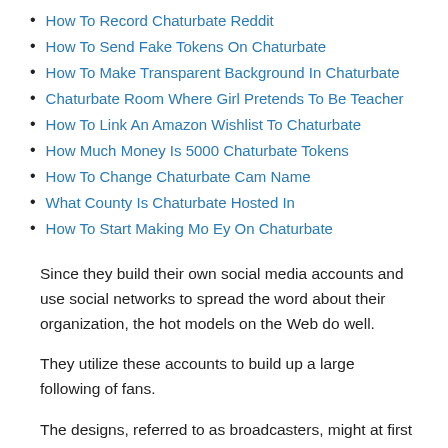How To Record Chaturbate Reddit
How To Send Fake Tokens On Chaturbate
How To Make Transparent Background In Chaturbate
Chaturbate Room Where Girl Pretends To Be Teacher
How To Link An Amazon Wishlist To Chaturbate
How Much Money Is 5000 Chaturbate Tokens
How To Change Chaturbate Cam Name
What County Is Chaturbate Hosted In
How To Start Making Mo Ey On Chaturbate
Since they build their own social media accounts and use social networks to spread the word about their organization, the hot models on the Web do well.
They utilize these accounts to build up a large following of fans.
The designs, referred to as broadcasters, might at first be